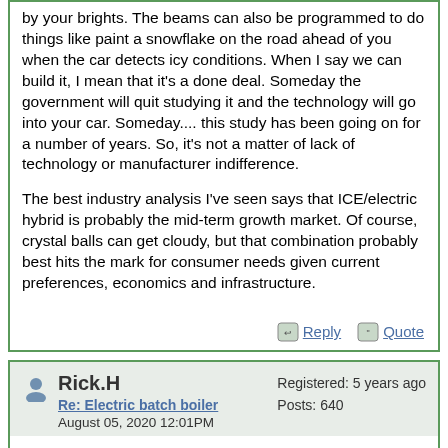by your brights. The beams can also be programmed to do things like paint a snowflake on the road ahead of you when the car detects icy conditions. When I say we can build it, I mean that it's a done deal. Someday the government will quit studying it and the technology will go into your car. Someday.... this study has been going on for a number of years. So, it's not a matter of lack of technology or manufacturer indifference.
The best industry analysis I've seen says that ICE/electric hybrid is probably the mid-term growth market. Of course, crystal balls can get cloudy, but that combination probably best hits the mark for consumer needs given current preferences, economics and infrastructure.
Reply  Quote
Rick.H
Re: Electric batch boiler
August 05, 2020 12:01PM
Registered: 5 years ago
Posts: 640
Dear Lohring,
Why not build two new factories? Why not have rising